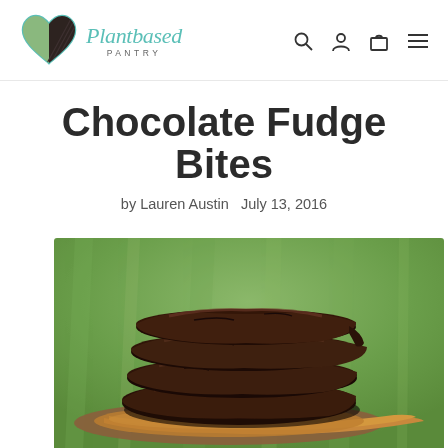[Figure (logo): Plantbased Pantry logo: a heart shape with green leaf and dark chocolate leaf inside a teal outline, next to the cursive text 'Plantbased' above 'PANTRY' in small caps]
[Figure (other): Navigation icons: search (magnifying glass), account (person silhouette), cart (shopping bag), and hamburger menu lines]
Chocolate Fudge Bites
by Lauren Austin   July 13, 2016
[Figure (photo): Close-up photograph of a stack of four chocolate fudge bites (dark chocolate-covered flat round patties) stacked on a wooden spoon, set against a blurred green grass background]